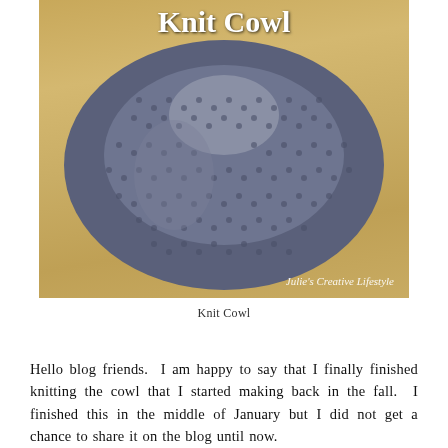[Figure (photo): A blue-gray knitted cowl/infinity scarf laid on a wooden surface. The title 'Knit Cowl' appears in white text at the top of the image. A watermark reads "Julie's Creative Lifestyle" at the bottom right.]
Knit Cowl
Hello blog friends.  I am happy to say that I finally finished knitting the cowl that I started making back in the fall.  I finished this in the middle of January but I did not get a chance to share it on the blog until now.